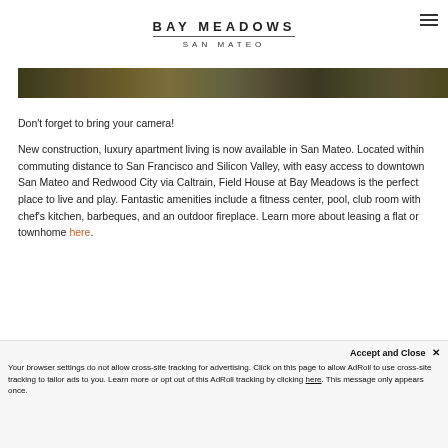BAY MEADOWS SAN MATEO
[Figure (photo): Horizontal banner photo showing green/brown foliage or outdoor landscape scene]
Don’t forget to bring your camera!
New construction, luxury apartment living is now available in San Mateo. Located within commuting distance to San Francisco and Silicon Valley, with easy access to downtown San Mateo and Redwood City via Caltrain, Field House at Bay Meadows is the perfect place to live and play. Fantastic amenities include a fitness center, pool, club room with chef’s kitchen, barbeques, and an outdoor fireplace. Learn more about leasing a flat or townhome here.
Accept and Close × Your browser settings do not allow cross-site tracking for advertising. Click on this page to allow AdRoll to use cross-site tracking to tailor ads to you. Learn more or opt out of this AdRoll tracking by clicking here. This message only appears once.